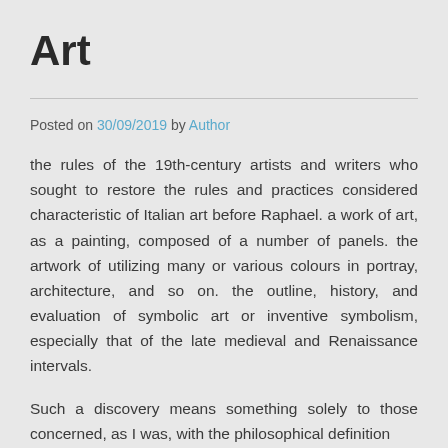Art
Posted on 30/09/2019 by Author
the rules of the 19th-century artists and writers who sought to restore the rules and practices considered characteristic of Italian art before Raphael. a work of art, as a painting, composed of a number of panels. the artwork of utilizing many or various colours in portray, architecture, and so on. the outline, history, and evaluation of symbolic art or inventive symbolism, especially that of the late medieval and Renaissance intervals.
Such a discovery means something solely to those concerned, as I was, with the philosophical definition